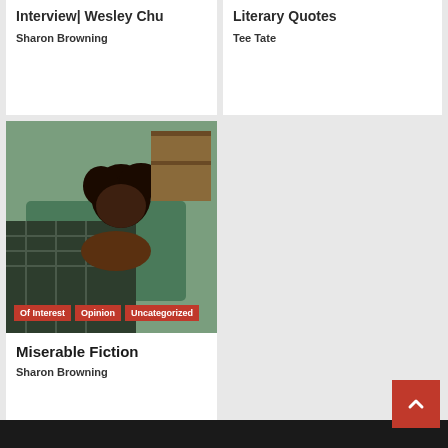Interview| Wesley Chu
Sharon Browning
Literary Quotes
Tee Tate
[Figure (photo): Woman with curly dark hair leaning on a green sofa, reading a book, wrapped in a plaid blanket]
Of Interest  Opinion  Uncategorized
Miserable Fiction
Sharon Browning